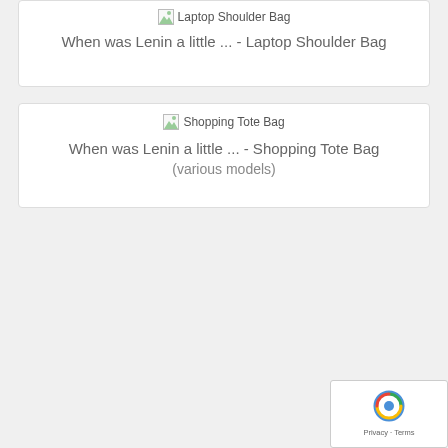[Figure (other): Broken image placeholder for Laptop Shoulder Bag]
When was Lenin a little ... - Laptop Shoulder Bag
[Figure (other): Broken image placeholder for Shopping Tote Bag]
When was Lenin a little ... - Shopping Tote Bag
(various models)
[Figure (other): reCAPTCHA badge with Privacy and Terms text]